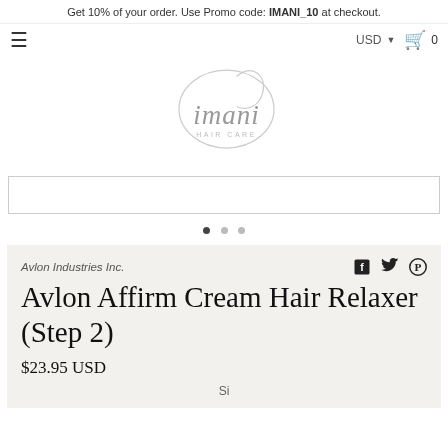Get 10% of your order. Use Promo code: IMANI_10 at checkout.
[Figure (logo): Imani Hair Care logo with stylized cursive text and decorative oval loop]
[Figure (other): Slideshow image area with border, mostly empty/white. Three dot pagination indicators below (first dot active).]
Avlon Industries Inc.
Avlon Affirm Cream Hair Relaxer (Step 2)
$23.95 USD
Si